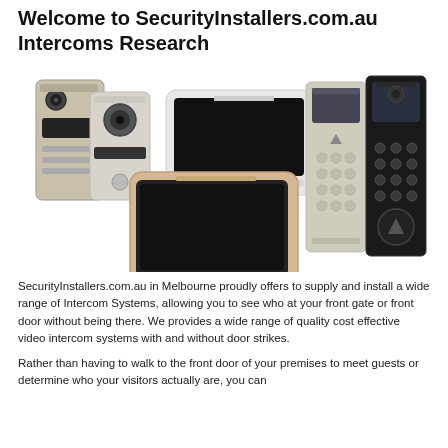Welcome to SecurityInstallers.com.au Intercoms Research
[Figure (photo): Collection of Hikvision video intercom systems including outdoor door stations with cameras and keypads, and indoor monitor screens in white and beige/gold finishes, along with black apartment-style intercom panels with keypads.]
SecurityInstallers.com.au in Melbourne proudly offers to supply and install a wide range of Intercom Systems, allowing you to see who at your front gate or front door without being there. We provides a wide range of quality cost effective video intercom systems with and without door strikes.
Rather than having to walk to the front door of your premises to meet guests or determine who your visitors actually are, you can